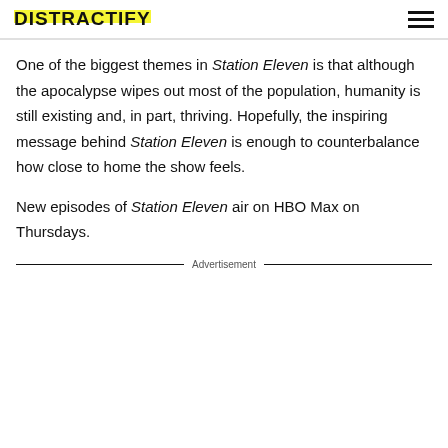DISTRACTIFY
One of the biggest themes in Station Eleven is that although the apocalypse wipes out most of the population, humanity is still existing and, in part, thriving. Hopefully, the inspiring message behind Station Eleven is enough to counterbalance how close to home the show feels.
New episodes of Station Eleven air on HBO Max on Thursdays.
Advertisement